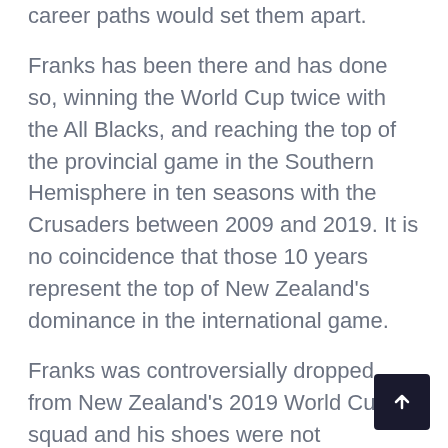career paths would set them apart.
Franks has been there and has done so, winning the World Cup twice with the All Blacks, and reaching the top of the provincial game in the Southern Hemisphere in ten seasons with the Crusaders between 2009 and 2019. It is no coincidence that those 10 years represent the top of New Zealand's dominance in the international game.
Franks was controversially dropped from New Zealand's 2019 World Cup squad and his shoes were not adequately filled by those who followed in his footsteps. In the semi-final against England in Yokohama, the All Blacks lacked experience and leadership at the time when they were most needed.